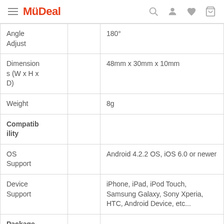MyDeal
| Property |  | Value |
| --- | --- | --- |
| Angle Adjust |  | 180° |
| Dimensions (W x H x D) |  | 48mm x 30mm x 10mm |
| Weight |  | 8g |
| Compatibility |  |  |
| OS Support |  | Android 4.2.2 OS, iOS 6.0 or newer |
| Device Support |  | iPhone, iPad, iPod Touch, Samsung Galaxy, Sony Xperia, HTC, Android Device, etc... |
| Package |  |  |